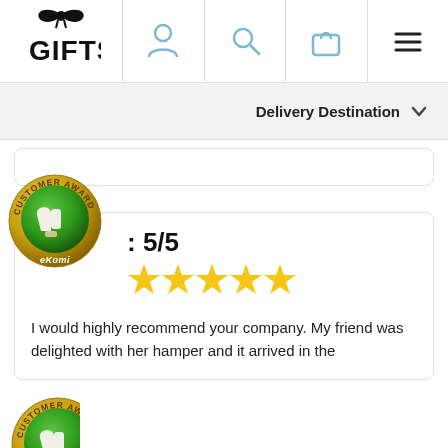[Figure (logo): GIFTS logo with bow icon]
[Figure (infographic): Person/user icon]
[Figure (infographic): Search/magnifier icon]
[Figure (infographic): Shopping bag icon]
[Figure (infographic): Hamburger menu icon]
Delivery Destination
[Figure (infographic): eKomi Customer Award badge with thumbs up]
: 5/5
[Figure (infographic): Five gold stars rating]
I would highly recommend your company. My friend was delighted with her hamper and it arrived in the
[Figure (infographic): Partial eKomi Customer Award badge (bottom of page)]